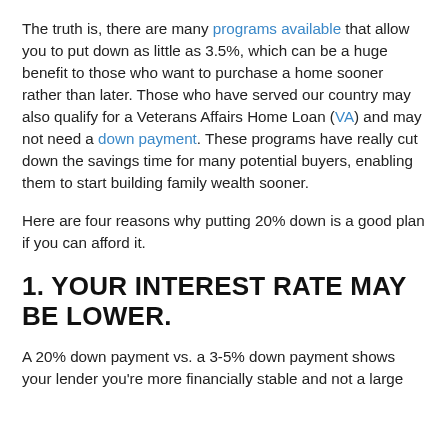The truth is, there are many programs available that allow you to put down as little as 3.5%, which can be a huge benefit to those who want to purchase a home sooner rather than later. Those who have served our country may also qualify for a Veterans Affairs Home Loan (VA) and may not need a down payment. These programs have really cut down the savings time for many potential buyers, enabling them to start building family wealth sooner.
Here are four reasons why putting 20% down is a good plan if you can afford it.
1. YOUR INTEREST RATE MAY BE LOWER.
A 20% down payment vs. a 3-5% down payment shows your lender you're more financially stable and not a large